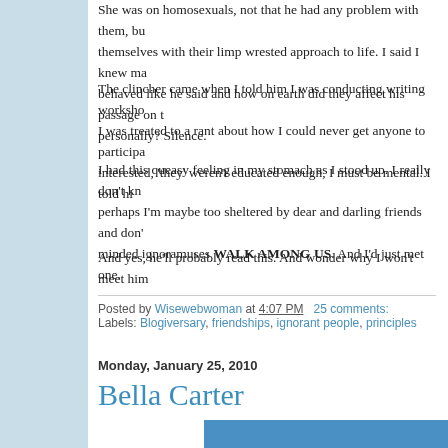She was on homosexuals, not that he had any problem with them, but they sold themselves with their limp wrested approach to life. I said I knew many gay men who behaved like he said and how on earth did they affect his passage on this earth personally? Silence.
The clincher came when I told him I was conducting writing workshops in prisons. I was treated to a rant about how I could never get anyone to participate, no one was interested, 'they' weren't educated enough, I must be mental. I told hi...
I had this queasy feeling in my stomach as I stood up. I really don't kn... perhaps I'm maybe too sheltered by dear and darling friends and don'... minded ignoramuses WALK AMONG US. And I'd just met one.
And yes, he'll probably read this. And wonder why I won't meet him...
Posted by Wisewebwoman at 4:07 PM   25 comments:
Labels: Blogiversary, friendships, ignorant people, principles
Monday, January 25, 2010
Bella Carter